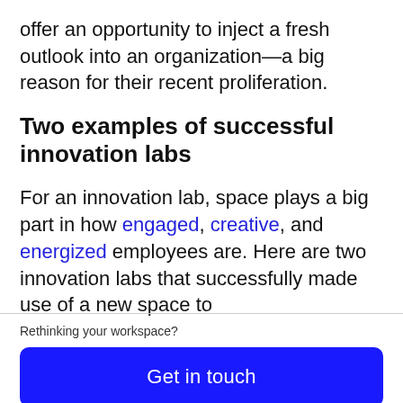offer an opportunity to inject a fresh outlook into an organization—a big reason for their recent proliferation.
Two examples of successful innovation labs
For an innovation lab, space plays a big part in how engaged, creative, and energized employees are. Here are two innovation labs that successfully made use of a new space to
Rethinking your workspace?
Get in touch